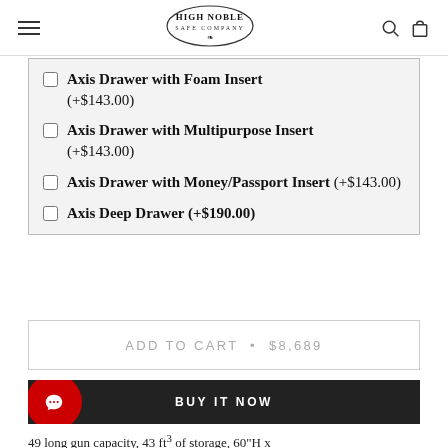High Noble Safe Company
Axis Drawer with Foam Insert (+$143.00)
Axis Drawer with Multipurpose Insert (+$143.00)
Axis Drawer with Money/Passport Insert (+$143.00)
Axis Deep Drawer (+$190.00)
ADD TO CART • $8,689
BUY IT NOW
49 long gun capacity, 43 ft³ of storage, 60"H x